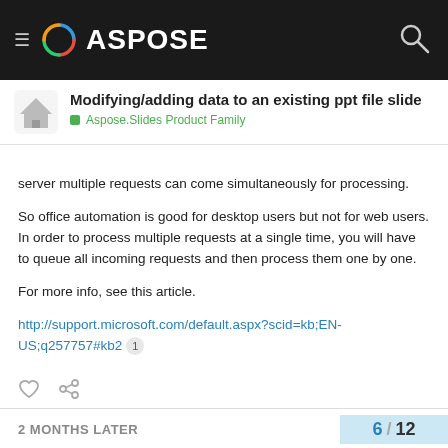ASPOSE
Modifying/adding data to an existing ppt file slide
Aspose.Slides Product Family
server multiple requests can come simultaneously for processing.
So office automation is good for desktop users but not for web users. In order to process multiple requests at a single time, you will have to queue all incoming requests and then process them one by one.
For more info, see this article.
http://support.microsoft.com/default.aspx?scid=kb;EN-US;q257757#kb2
2 MONTHS LATER
6 / 12